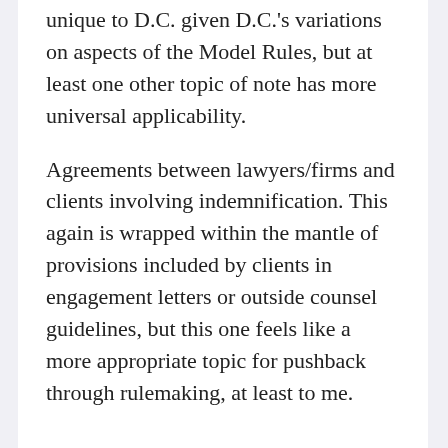unique to D.C. given D.C.'s variations on aspects of the Model Rules, but at least one other topic of note has more universal applicability.
Agreements between lawyers/firms and clients involving indemnification. This again is wrapped within the mantle of provisions included by clients in engagement letters or outside counsel guidelines, but this one feels like a more appropriate topic for pushback through rulemaking, at least to me.